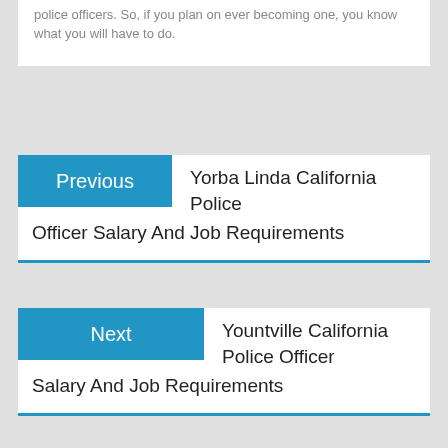police officers. So, if you plan on ever becoming one, you know what you will have to do.
Previous   Yorba Linda California Police Officer Salary And Job Requirements
Next   Yountville California Police Officer Salary And Job Requirements
Police Resources
How To Become A Police Officer